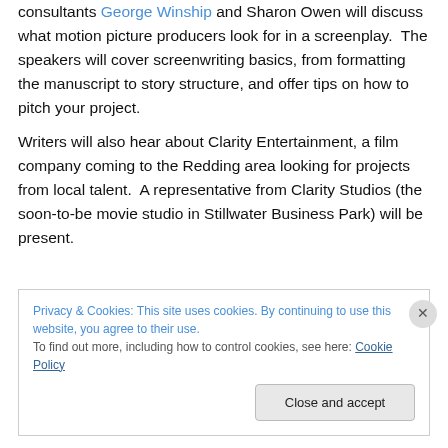consultants George Winship and Sharon Owen will discuss what motion picture producers look for in a screenplay.  The speakers will cover screenwriting basics, from formatting the manuscript to story structure, and offer tips on how to pitch your project.
Writers will also hear about Clarity Entertainment, a film company coming to the Redding area looking for projects from local talent.  A representative from Clarity Studios (the soon-to-be movie studio in Stillwater Business Park) will be present.
Privacy & Cookies: This site uses cookies. By continuing to use this website, you agree to their use.
To find out more, including how to control cookies, see here: Cookie Policy